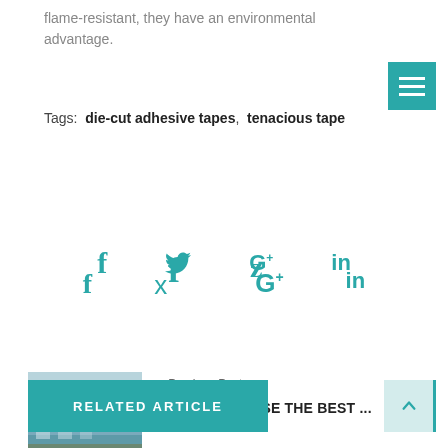flame-resistant, they have an environmental advantage.
Tags: die-cut adhesive tapes, tenacious tape
[Figure (infographic): Social share icons: f (Facebook), bird (Twitter), G+ (Google Plus), in (LinkedIn), all in teal/cyan color]
[Figure (photo): Previous post thumbnail: outdoor deck/balcony with wooden floor and ocean view]
< Previous Post
HOW TO CHOOSE THE BEST ...
[Figure (photo): Next post thumbnail: person installing cabinet, white interior]
Next Post >
THE ULTIMATE CABINET IN...
RELATED ARTICLE